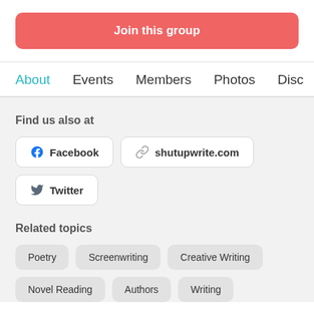Join this group
About  Events  Members  Photos  Disc
Find us also at
Facebook
shutupwrite.com
Twitter
Related topics
Poetry
Screenwriting
Creative Writing
Novel Reading
Authors
Writing